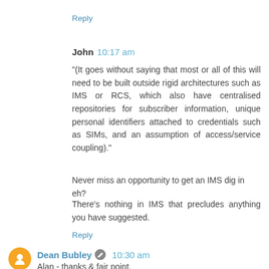Reply
John  10:17 am
"(It goes without saying that most or all of this will need to be built outside rigid architectures such as IMS or RCS, which also have centralised repositories for subscriber information, unique personal identifiers attached to credentials such as SIMs, and an assumption of access/service coupling)."
Never miss an opportunity to get an IMS dig in eh?
There's nothing in IMS that precludes anything you have suggested.
Reply
Dean Bubley  10:30 am
Alan - thanks & fair point.